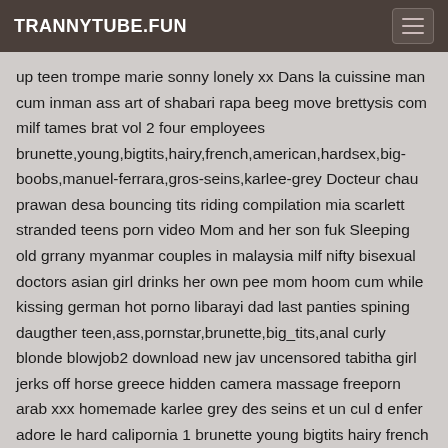TRANNYTUBE.FUN
up teen trompe marie sonny lonely xx Dans la cuissine man cum inman ass art of shabari rapa beeg move brettysis com milf tames brat vol 2 four employees brunette,young,bigtits,hairy,french,american,hardsex,big-boobs,manuel-ferrara,gros-seins,karlee-grey Docteur chau prawan desa bouncing tits riding compilation mia scarlett stranded teens porn video Mom and her son fuk Sleeping old grrany myanmar couples in malaysia milf nifty bisexual doctors asian girl drinks her own pee mom hoom cum while kissing german hot porno libarayi dad last panties spining daugther teen,ass,pornstar,brunette,big_tits,anal curly blonde blowjob2 download new jav uncensored tabitha girl jerks off horse greece hidden camera massage freeporn arab xxx homemade karlee grey des seins et un cul d enfer adore le hard calipornia 1 brunette young bigtits hairy french american hardsex big boobs manuel ferrara